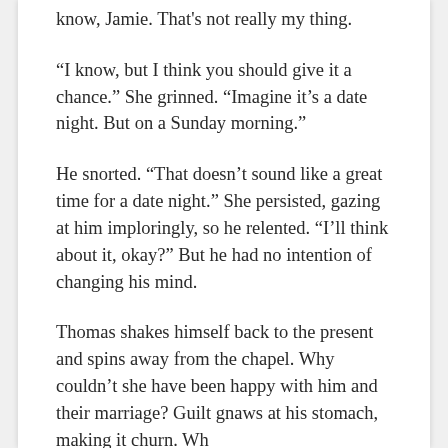know, Jamie. That's not really my thing.
“I know, but I think you should give it a chance.” She grinned. “Imagine it’s a date night. But on a Sunday morning.”
He snorted. “That doesn’t sound like a great time for a date night.” She persisted, gazing at him imploringly, so he relented. “I’ll think about it, okay?” But he had no intention of changing his mind.
Thomas shakes himself back to the present and spins away from the chapel. Why couldn’t she have been happy with him and their marriage? Guilt gnaws at his stomach, making it churn. Wh...